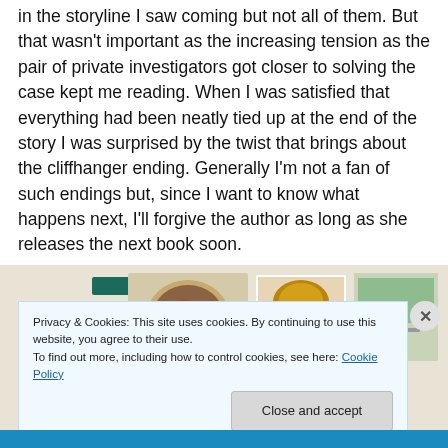in the storyline I saw coming but not all of them. But that wasn't important as the increasing tension as the pair of private investigators got closer to solving the case kept me reading. When I was satisfied that everything had been neatly tied up at the end of the story I was surprised by the twist that brings about the cliffhanger ending. Generally I'm not a fan of such endings but, since I want to know what happens next, I'll forgive the author as long as she releases the next book soon.
[Figure (screenshot): Screenshot of a website showing a green navigation bar and food/recipe photos on a beige background]
Privacy & Cookies: This site uses cookies. By continuing to use this website, you agree to their use.
To find out more, including how to control cookies, see here: Cookie Policy
Close and accept